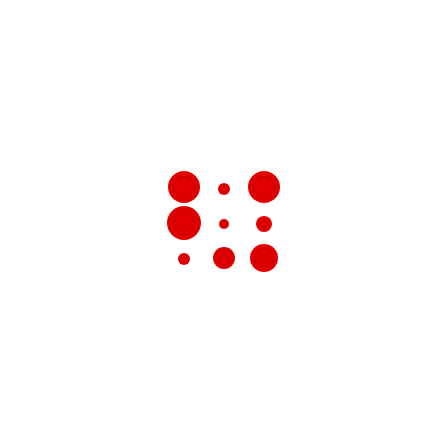[Figure (other): A 3x3 grid of red circles of varying sizes. Each circle has a lighter ring outline detail. Top row: large circle, small circle, large circle. Middle row: large circle, tiny circle, small circle. Bottom row: small circle, medium circle, large circle.]